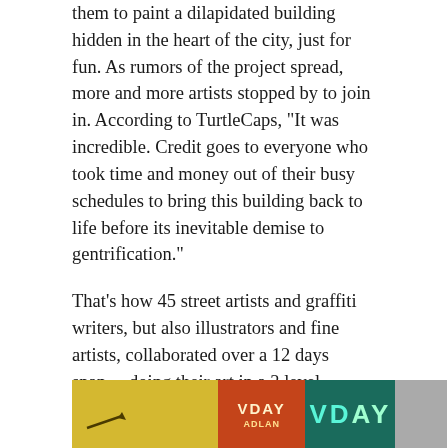them to paint a dilapidated building hidden in the heart of the city, just for fun. As rumors of the project spread, more and more artists stopped by to join in. According to TurtleCaps, “It was incredible. Credit goes to everyone who took time and money out of their busy schedules to bring this building back to life before its inevitable demise to gentrification.”
That’s how 45 street artists and graffiti writers, but also illustrators and fine artists, collaborated over a 12 days span… doing their art in a 3 level courtyard. “I’ve made some good friends in Montreal, so a cool part of this is throwing these multiple artists that may not know each other, into the same space. To have a fine art painter rocking a wall next to a street bomber and they’re both having a good time, well that’s what it’s all about.”
[Figure (photo): Colorful graffiti art strip showing yellow background with arrow, orange/red text panel, teal graffiti letters VDAY, and grey panel on right edge.]